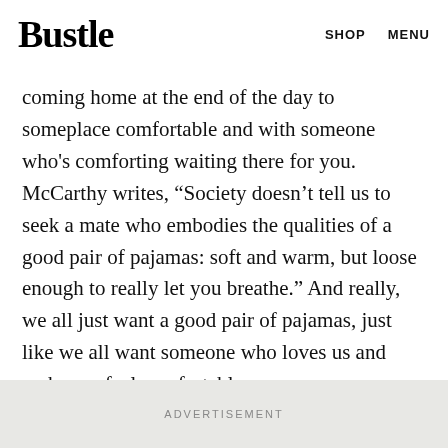Bustle   SHOP   MENU
A relationship shouldn't be a constant roller coaster of highs and lows and fights. There's something to be said for coming home at the end of the day to someplace comfortable and with someone who's comforting waiting there for you. McCarthy writes, “Society doesn’t tell us to seek a mate who embodies the qualities of a good pair of pajamas: soft and warm, but loose enough to really let you breathe.” And really, we all just want a good pair of pajamas, just like we all want someone who loves us and makes us feel comfortable.
ADVERTISEMENT